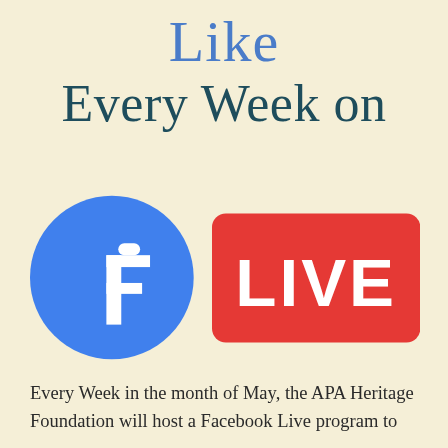Like Every Week on
[Figure (logo): Facebook Live logo: blue circle with white 'f' icon on the left, red rounded rectangle with white bold 'LIVE' text on the right]
Every Week in the month of May, the APA Heritage Foundation will host a Facebook Live program to